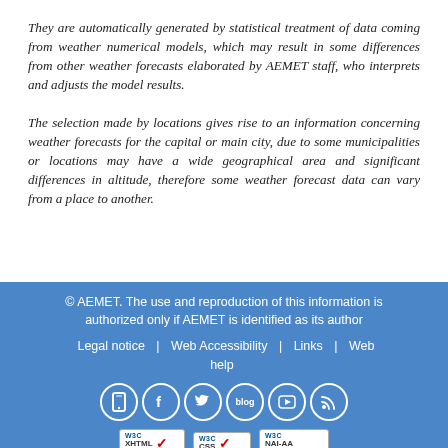They are automatically generated by statistical treatment of data coming from weather numerical models, which may result in some differences from other weather forecasts elaborated by AEMET staff, who interprets and adjusts the model results.
The selection made by locations gives rise to an information concerning weather forecasts for the capital or main city, due to some municipalities or locations may have a wide geographical area and significant differences in altitude, therefore some weather forecast data can vary from a place to another.
© AEMET. The use and reproduction of this information is authorized only if AEMET is identified as its author
Legal notice | Web Accessibility | Links | Web help